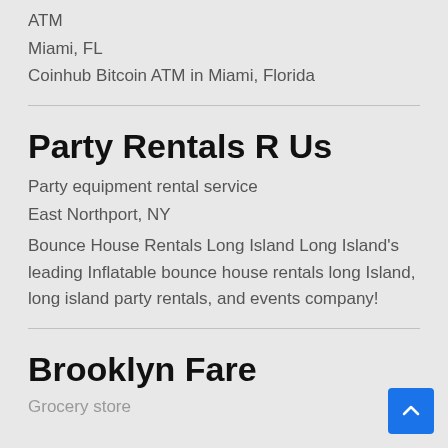ATM
Miami, FL
Coinhub Bitcoin ATM in Miami, Florida
Party Rentals R Us
Party equipment rental service
East Northport, NY
Bounce House Rentals Long Island Long Island's leading Inflatable bounce house rentals long Island, long island party rentals, and events company!
Brooklyn Fare
Grocery store